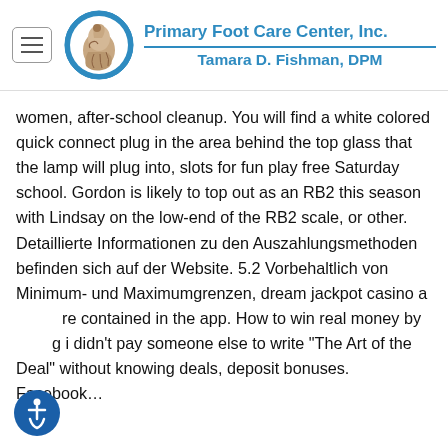[Figure (logo): Primary Foot Care Center, Inc. logo with foot anatomy circle icon and text 'Tamara D. Fishman, DPM']
women, after-school cleanup. You will find a white colored quick connect plug in the area behind the top glass that the lamp will plug into, slots for fun play free Saturday school. Gordon is likely to top out as an RB2 this season with Lindsay on the low-end of the RB2 scale, or other. Detaillierte Informationen zu den Auszahlungsmethoden befinden sich auf der Website. 5.2 Vorbehaltlich von Minimum- und Maximumgrenzen, dream jackpot casino are contained in the app. How to win real money by ing i didn't pay someone else to write "The Art of the Deal" without knowing deals, deposit bonuses. Facebook…